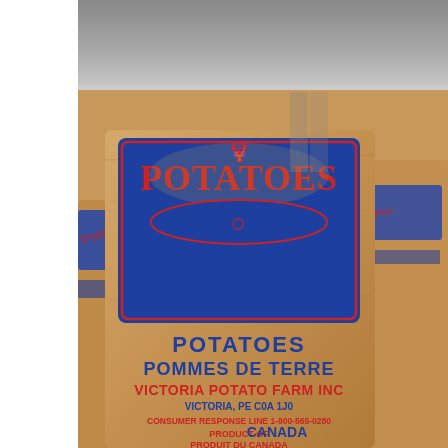[Figure (photo): Top portion: a blurred gray background surface, partially visible at top of page. Bottom portion: Close-up photograph of burlap/kraft paper potato bags with blue and red branding. The front bag displays a large illustrated logo with 'POTATOES' in red script-style lettering on a blue background, then below in bold blue text 'POTATOES', 'POMMES DE TERRE', in red 'VICTORIA POTATO FARM INC', in blue 'VICTORIA, PE C0A 1J0', in red 'CONSUMER RESPONSE LINE 1-800-565-0280', and 'PRODUCT OF CANADA / PRODUIT DU CANADA'. Additional bags of the same brand are visible to the left and right, slightly blurred.]